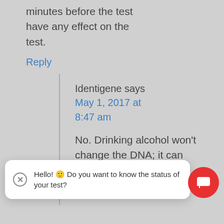minutes before the test have any effect on the test.
Reply
Identigene says
May 1, 2017 at 8:47 am
No. Drinking alcohol won't change the DNA; it can only possibly
Hello! 🙂 Do you want to know the status of your test?